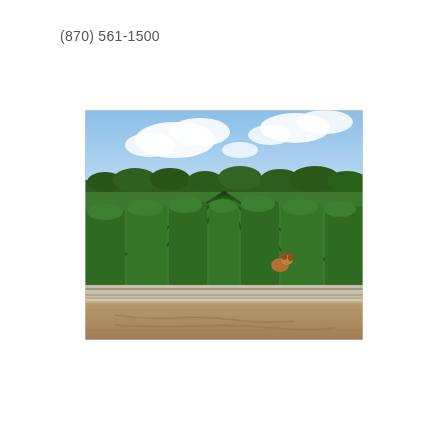(870) 561-1500
[Figure (photo): Outdoor photograph of rows of green cotton or vegetable plants growing in a field under a partly cloudy blue sky. Rows of lush green leafy plants extend into the distance with tree line visible on the horizon. In the foreground there is an irrigation channel or concrete ditch running horizontally, and a dirt road/path. A dog is visible between the plant rows in the middle distance.]